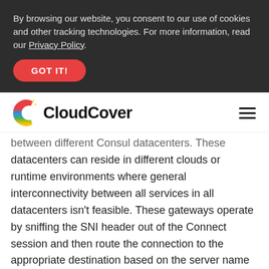By browsing our website, you consent to our use of cookies and other tracking technologies. For more information, read our Privacy Policy.
GOT IT!
[Figure (logo): CloudCover logo with colorful C icon]
between different Consul datacenters. These datacenters can reside in different clouds or runtime environments where general interconnectivity between all services in all datacenters isn't feasible. These gateways operate by sniffing the SNI header out of the Connect session and then route the connection to the appropriate destination based on the server name requested. The data within the mTLS session is not decrypted by the Gateway.